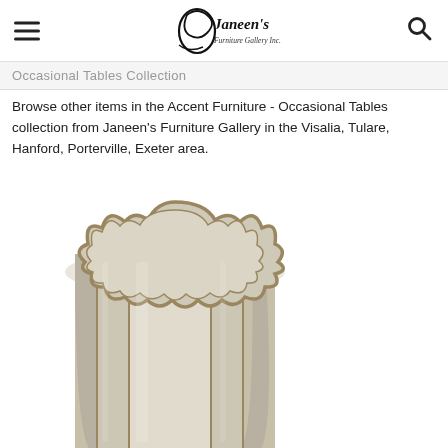Janeen's Furniture Gallery Inc.
Occasional Tables Collection
Browse other items in the Accent Furniture - Occasional Tables collection from Janeen's Furniture Gallery in the Visalia, Tulare, Hanford, Porterville, Exeter area.
[Figure (photo): A cylindrical mirrored side table with a scalloped top and antiqued mirror panels with gold/bronze trim framing, shown partially cropped from the bottom.]